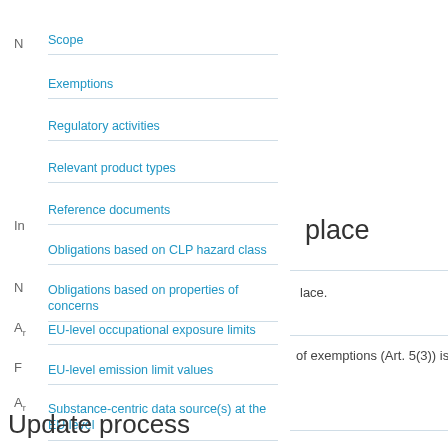Scope
Exemptions
Regulatory activities
Relevant product types
Reference documents
Obligations based on CLP hazard class
Obligations based on properties of concerns
EU-level occupational exposure limits
EU-level emission limit values
Substance-centric data source(s) at the EU level
Industry submission system in place
Format for industry submission
Owner
Update process
Amendments
Update process